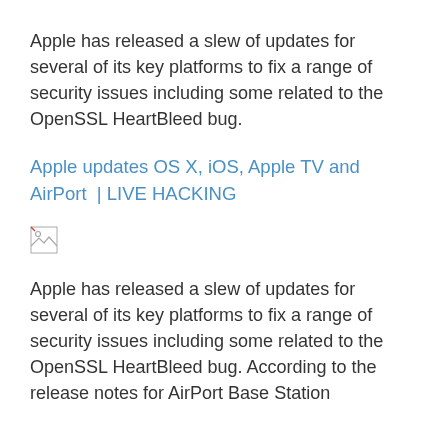Apple has released a slew of updates for several of its key platforms to fix a range of security issues including some related to the OpenSSL HeartBleed bug.
Apple updates OS X, iOS, Apple TV and AirPort  |  LIVE HACKING
[Figure (other): Broken image placeholder icon]
Apple has released a slew of updates for several of its key platforms to fix a range of security issues including some related to the OpenSSL HeartBleed bug. According to the release notes for AirPort Base Station